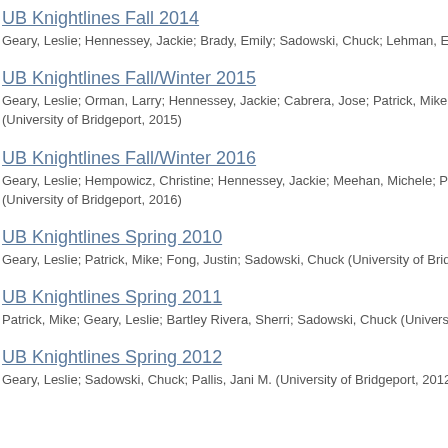UB Knightlines Fall 2014
Geary, Leslie; Hennessey, Jackie; Brady, Emily; Sadowski, Chuck; Lehman, E
UB Knightlines Fall/Winter 2015
Geary, Leslie; Orman, Larry; Hennessey, Jackie; Cabrera, Jose; Patrick, Mike;
(University of Bridgeport, 2015)
UB Knightlines Fall/Winter 2016
Geary, Leslie; Hempowicz, Christine; Hennessey, Jackie; Meehan, Michele; Pa
(University of Bridgeport, 2016)
UB Knightlines Spring 2010
Geary, Leslie; Patrick, Mike; Fong, Justin; Sadowski, Chuck (University of Brid
UB Knightlines Spring 2011
Patrick, Mike; Geary, Leslie; Bartley Rivera, Sherri; Sadowski, Chuck (Univers
UB Knightlines Spring 2012
Geary, Leslie; Sadowski, Chuck; Pallis, Jani M. (University of Bridgeport, 2012